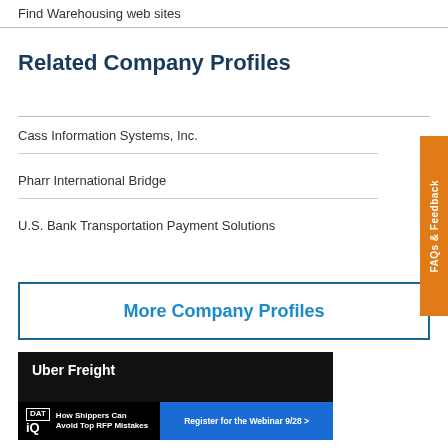Find Warehousing web sites
Related Company Profiles
Cass Information Systems, Inc.
Pharr International Bridge
U.S. Bank Transportation Payment Solutions
More Company Profiles
[Figure (photo): Uber Freight advertisement banner with DAT iQ branding and 'How Shippers Can Avoid Top RFP Mistakes' text, with a 'Register for the Webinar 9/28' call to action button]